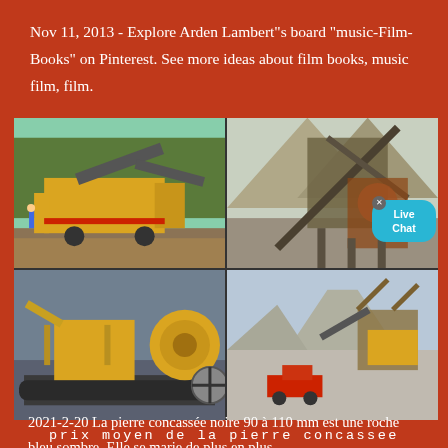Nov 11, 2013 - Explore Arden Lambert''s board "music-Film-Books" on Pinterest. See more ideas about film books, music film, film.
[Figure (photo): A 2x2 collage of four photographs showing large yellow industrial stone crushing and mining machinery at various outdoor job sites. One image includes a 'Live Chat' popup bubble overlay.]
prix moyen de la pierre concassee
2021-2-20 La pierre concassée noire 90 à 110 mm est une roche bleu sombre. Elle se marie de plus en plus